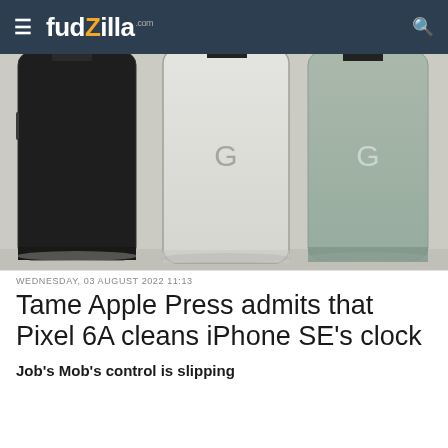fudzilla.com
[Figure (photo): Three Google Pixel 6A smartphones shown from the back, in black, white/light grey, and sage green colors, displayed against a light grey background]
WEDNESDAY, 03 AUGUST 2022 11:13
Tame Apple Press admits that Pixel 6A cleans iPhone SE's clock
Job's Mob's control is slipping